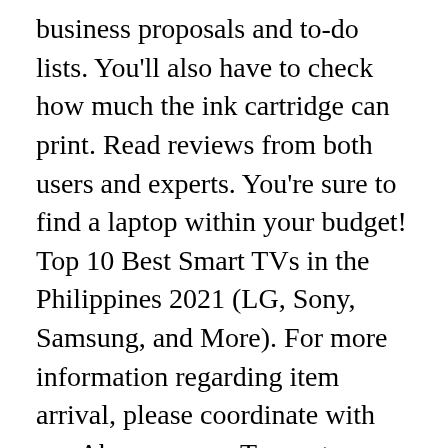business proposals and to-do lists. You'll also have to check how much the ink cartridge can print. Read reviews from both users and experts. You're sure to find a laptop within your budget! Top 10 Best Smart TVs in the Philippines 2021 (LG, Sony, Samsung, and More). For more information regarding item arrival, please coordinate with our Abenson.com Team at 02-7902-7731 or 02-8248-3200 or email us at shop@abenson.com . Canon unveils new G series printers to boost productivity for small businesses and offices 21 Jun 2019 All prices above are recommended retail price in Php, unless otherwise stated. Canon Inc. is a Japanese multinational corporation specialized in the manufacture of